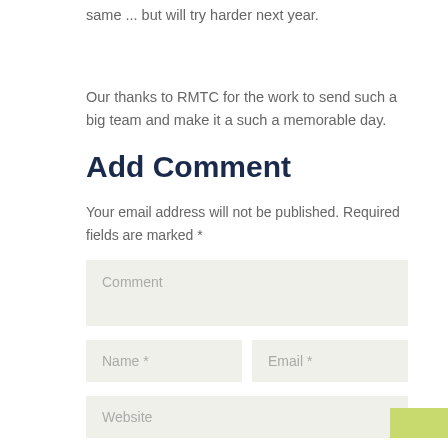same ... but will try harder next year.
Our thanks to RMTC for the work to send such a big team and make it a such a memorable day.
Add Comment
Your email address will not be published. Required fields are marked *
Comment
Name *
Email *
Website